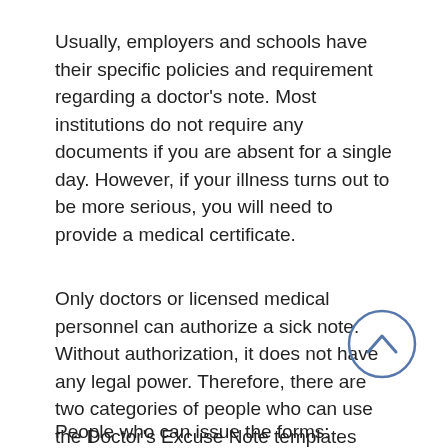Usually, employers and schools have their specific policies and requirement regarding a doctor's note. Most institutions do not require any documents if you are absent for a single day. However, if your illness turns out to be more serious, you will need to provide a medical certificate.
Only doctors or licensed medical personnel can authorize a sick note. Without authorization, it does not have any legal power. Therefore, there are two categories of people who can use the Doctor's Excuse Note templates and forms:
People who can issue the forms: